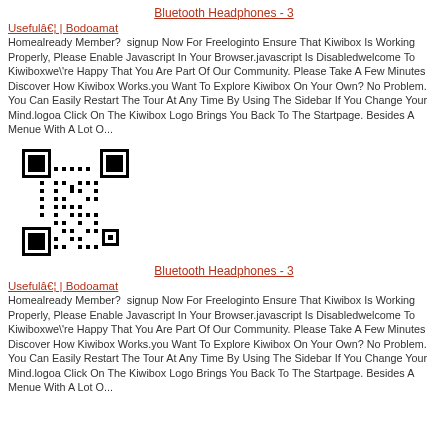Bluetooth Headphones - 3
Usefulâ€¦ | Bodoamat
Homealready Member?  signup Now For Freeloginto Ensure That Kiwibox Is Working Properly, Please Enable Javascript In Your Browser.javascript Is Disabledwelcome To Kiwiboxwe\'re Happy That You Are Part Of Our Community. Please Take A Few Minutes Discover How Kiwibox Works.you Want To Explore Kiwibox On Your Own? No Problem. You Can Easily Restart The Tour At Any Time By Using The Sidebar If You Change Your Mind.logoa Click On The Kiwibox Logo Brings You Back To The Startpage. Besides A Menue With A Lot O...
[Figure (other): QR code image]
Bluetooth Headphones - 3
Usefulâ€¦ | Bodoamat
Homealready Member?  signup Now For Freeloginto Ensure That Kiwibox Is Working Properly, Please Enable Javascript In Your Browser.javascript Is Disabledwelcome To Kiwiboxwe\'re Happy That You Are Part Of Our Community. Please Take A Few Minutes Discover How Kiwibox Works.you Want To Explore Kiwibox On Your Own? No Problem. You Can Easily Restart The Tour At Any Time By Using The Sidebar If You Change Your Mind.logoa Click On The Kiwibox Logo Brings You Back To The Startpage. Besides A Menue With A Lot O...